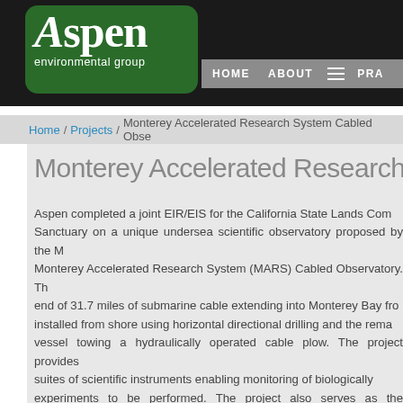[Figure (logo): Aspen Environmental Group logo — green rounded rectangle with white 'Aspen' text and 'environmental group' subtitle]
HOME   ABOUT   ≡   PRA
Home / Projects / Monterey Accelerated Research System Cabled Obse...
Monterey Accelerated Research Syste...
Aspen completed a joint EIR/EIS for the California State Lands Com... Sanctuary on a unique undersea scientific observatory proposed by the M... Monterey Accelerated Research System (MARS) Cabled Observatory. Th... end of 31.7 miles of submarine cable extending into Monterey Bay fro... installed from shore using horizontal directional drilling and the rema... vessel towing a hydraulically operated cable plow. The project provides... suites of scientific instruments enabling monitoring of biologically... experiments to be performed. The project also serves as the engineering...